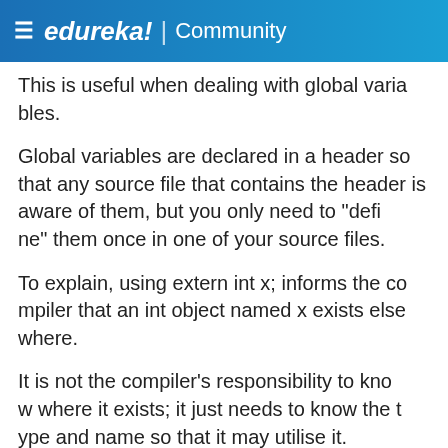≡ edureka! | Community
This is useful when dealing with global variables.
Global variables are declared in a header so that any source file that contains the header is aware of them, but you only need to "define" them once in one of your source files.
To explain, using extern int x; informs the compiler that an int object named x exists elsewhere.
It is not the compiler's responsibility to know where it exists; it just needs to know the type and name so that it may utilise it.
After compiling all of the source files, the linker will resolve all x references to the one de